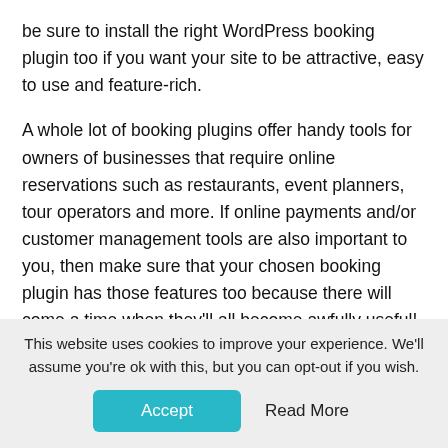be sure to install the right WordPress booking plugin too if you want your site to be attractive, easy to use and feature-rich.
A whole lot of booking plugins offer handy tools for owners of businesses that require online reservations such as restaurants, event planners, tour operators and more. If online payments and/or customer management tools are also important to you, then make sure that your chosen booking plugin has those features too because there will come a time when they'll all become awfully useful!
Do you need a WordPress
This website uses cookies to improve your experience. We'll assume you're ok with this, but you can opt-out if you wish.
Accept  Read More